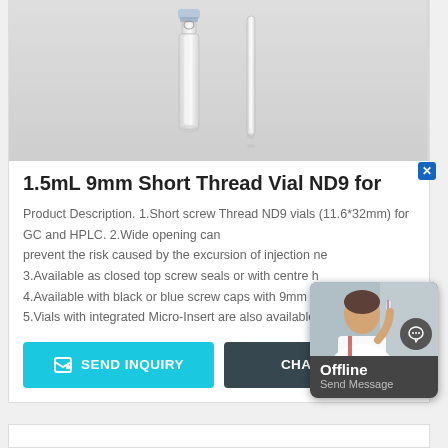[Figure (photo): Product photo of 1.5mL 9mm short thread vials (ND9) - glass laboratory vials/inserts on light grey background]
1.5mL 9mm Short Thread Vial ND9 for
Product Description. 1.Short screw Thread ND9 vials (11.6*32mm) for GC and HPLC. 2.Wide opening can prevent the risk caused by the excursion of injection ne 3.Available as closed top screw seals or with centre h 4.Available with black or blue screw caps with 9mm th 5.Vials with integrated Micro-Insert are also available.
[Figure (photo): Offline chat widget overlay showing a woman in a lab holding a test tube, with chat icon and 'Offline / Send Message' text on dark grey background]